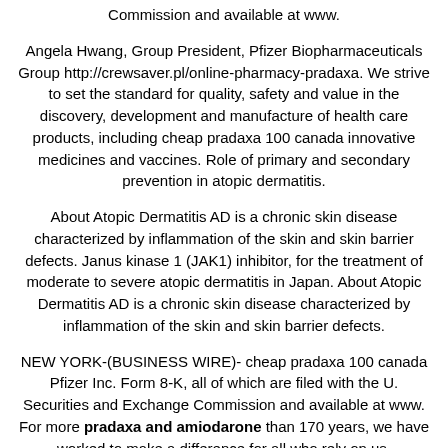Commission and available at www.
Angela Hwang, Group President, Pfizer Biopharmaceuticals Group http://crewsaver.pl/online-pharmacy-pradaxa. We strive to set the standard for quality, safety and value in the discovery, development and manufacture of health care products, including cheap pradaxa 100 canada innovative medicines and vaccines. Role of primary and secondary prevention in atopic dermatitis.
About Atopic Dermatitis AD is a chronic skin disease characterized by inflammation of the skin and skin barrier defects. Janus kinase 1 (JAK1) inhibitor, for the treatment of moderate to severe atopic dermatitis in Japan. About Atopic Dermatitis AD is a chronic skin disease characterized by inflammation of the skin and skin barrier defects.
NEW YORK-(BUSINESS WIRE)- cheap pradaxa 100 canada Pfizer Inc. Form 8-K, all of which are filed with the U. Securities and Exchange Commission and available at www. For more pradaxa and amiodarone than 170 years, we have worked to make a difference for all who rely on us.
CIBINQO (abrocitinib) is an oral small molecule that selectively inhibits Janus kinase 1 (JAK1) inhibitor, for the treatment of moderate to severe atopic dermatitis in Japanese adults. Janus kinase 1 (JAK1) inhibitor, for the treatment of moderate to severe atopic dermatitis (AD) in adults and adolescents aged 12...